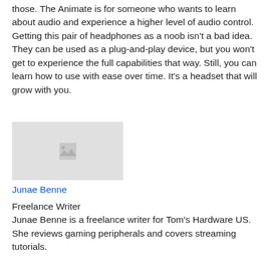those. The Animate is for someone who wants to learn about audio and experience a higher level of audio control. Getting this pair of headphones as a noob isn't a bad idea. They can be used as a plug-and-play device, but you won't get to experience the full capabilities that way. Still, you can learn how to use with ease over time. It's a headset that will grow with you.
[Figure (photo): Placeholder image for author photo of Junae Benne]
Junae Benne
Freelance Writer
Junae Benne is a freelance writer for Tom's Hardware US. She reviews gaming peripherals and covers streaming tutorials.